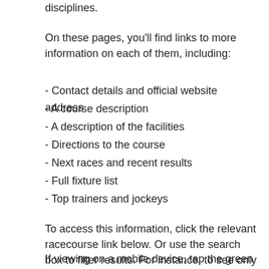disciplines.
On these pages, you'll find links to more information on each of them, including:
- Contact details and official website address
- A course description
- A description of the facilities
- Directions to the course
- Next races and recent results
- Full fixture list
- Top trainers and jockeys
To access this information, click the relevant racecourse link below. Or use the search box to filter results. For instance, to see only jumps tracks, enter 'NH' into the search box.
If viewing on a mobile device, tap the green circle for